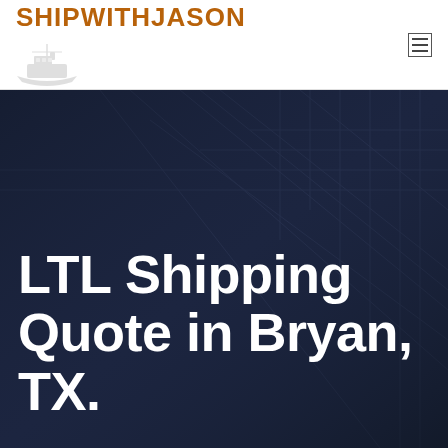SHIPWITHJASON
LTL Shipping Quote in Bryan, TX.